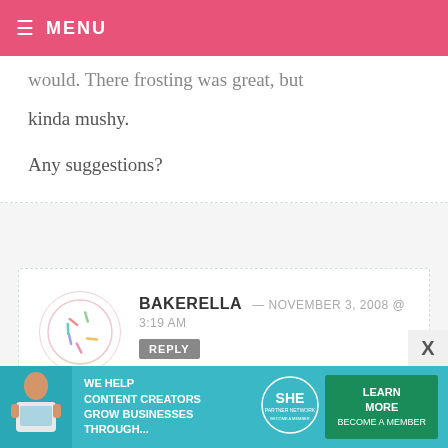MENU
would. There frosting was great, but kinda mushy. Any suggestions?
BAKERELLA — NOVEMBER 3, 2008 @ 3:19 AM
She'll definitely love helping you eat them.
SWEETMEMORYMAKINGMOM — OCTOBER
[Figure (infographic): SHE Partner Network advertisement banner: teal background, woman with laptop, text 'We help content creators grow businesses through...', SHE Partner Network logo, green Learn More button, Become a Member link]